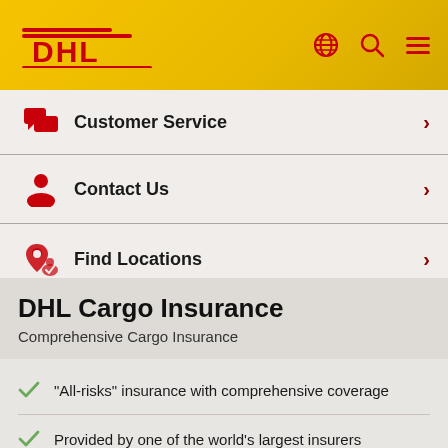[Figure (logo): DHL logo in red on yellow background header with globe, search, and menu icons]
Customer Service
Contact Us
Find Locations
DHL Cargo Insurance
Comprehensive Cargo Insurance
“All-risks” insurance with comprehensive coverage
Provided by one of the world’s largest insurers